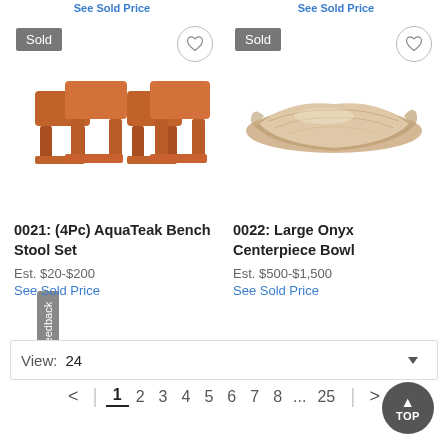See Sold Price  |  See Sold Price (top cropped)
[Figure (photo): Photo of 4-piece wooden AquaTeak bench stool set with 'Sold' badge and heart icon]
[Figure (photo): Photo of large onyx centerpiece bowl (natural stone) with 'Sold' badge and heart icon]
0021: (4Pc) AquaTeak Bench Stool Set
Est. $20-$200
See Sold Price
0022: Large Onyx Centerpiece Bowl
Est. $500-$1,500
See Sold Price
View: 24
< | 1 2 3 4 5 6 7 8 ... 25 | >
Feedback